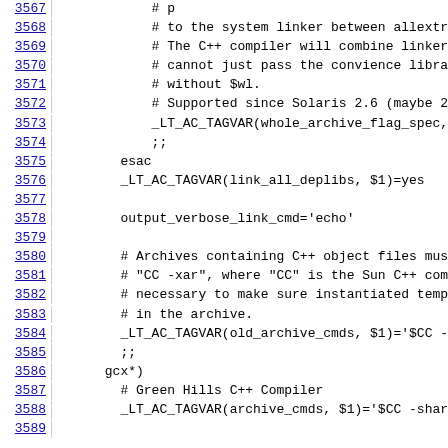3567-3589: Source code lines from a shell/autoconf script (libtool configure), showing C++ linker and archive command configuration for Solaris and gcx compilers.